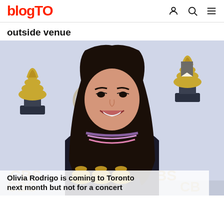blogTO
...y ... p ... g ... outside venue
[Figure (photo): Olivia Rodrigo posing with Grammy trophies in front of a CBS Grammy backdrop, wearing a black outfit and pink necklaces]
Olivia Rodrigo is coming to Toronto next month but not for a concert